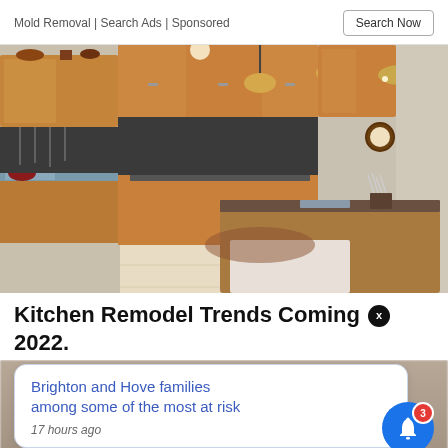Mold Removal | Search Ads | Sponsored
[Figure (photo): Interior photo of a modern kitchen with wood cabinets, granite countertops, stainless steel appliances, pendant lights, and an island with bar seating. An adjacent dining area is visible.]
Kitchen Remodel Trends Coming In 2022.
Brighton and Hove families among some of the most at risk
17 hours ago